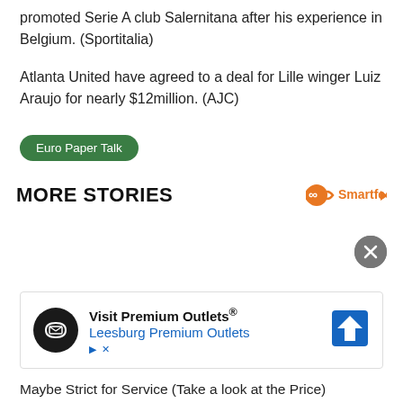promoted Serie A club Salernitana after his experience in Belgium. (Sportitalia)
Atlanta United have agreed to a deal for Lille winger Luiz Araujo for nearly $12million. (AJC)
Euro Paper Talk
MORE STORIES
[Figure (logo): Smartfeed logo with orange infinity/face icon and play button]
[Figure (logo): Close button (X) in grey circle]
[Figure (other): Advertisement for Visit Premium Outlets / Leesburg Premium Outlets with logo and navigation icon]
Maybe Strict for Service (Take a look at the Price)